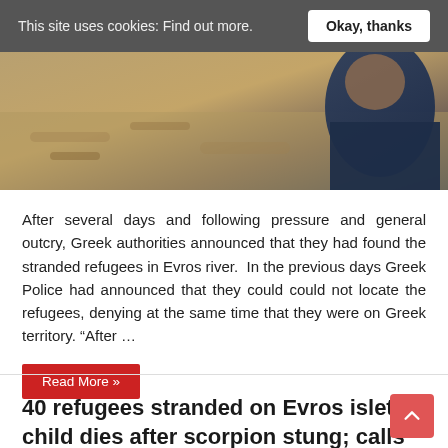This site uses cookies: Find out more. Okay, thanks
[Figure (photo): Partial photo of a child refugee outdoors on dry ground, wearing a dark jacket, with dry grass/soil visible]
After several days and following pressure and general outcry, Greek authorities announced that they had found the stranded refugees in Evros river.  In the previous days Greek Police had announced that they could could not locate the refugees, denying at the same time that they were on Greek territory. "After …
Read More »
40 refugees stranded on Evros islet; child dies after scorpion stung; calls on their rescue